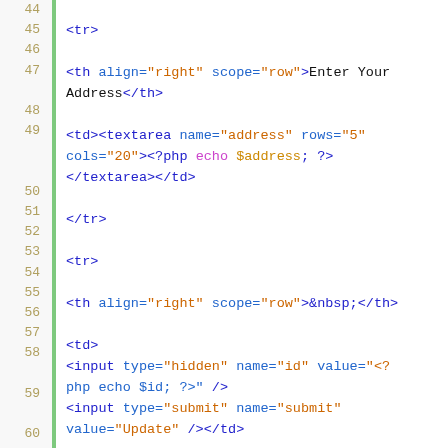[Figure (screenshot): Code editor screenshot showing HTML/PHP source code, lines 44-67, with syntax highlighting. Line numbers in tan/gold on left, green gutter bar, code on white background. HTML tags in blue, attribute names in blue, attribute values in orange/amber, PHP keywords in magenta, PHP variables in gold.]